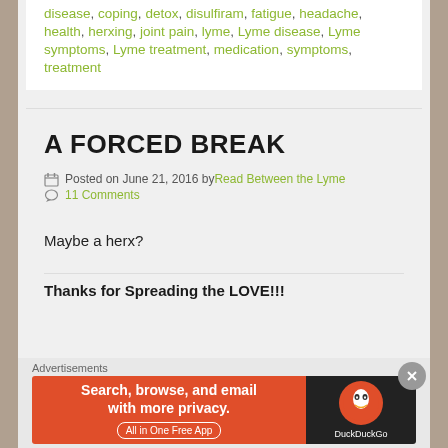disease, coping, detox, disulfiram, fatigue, headache, health, herxing, joint pain, lyme, Lyme disease, Lyme symptoms, Lyme treatment, medication, symptoms, treatment
A FORCED BREAK
Posted on June 21, 2016 by Read Between the Lyme
11 Comments
Maybe a herx?
Thanks for Spreading the LOVE!!!
Advertisements
[Figure (screenshot): DuckDuckGo advertisement banner: 'Search, browse, and email with more privacy. All in One Free App' with DuckDuckGo logo on dark background]